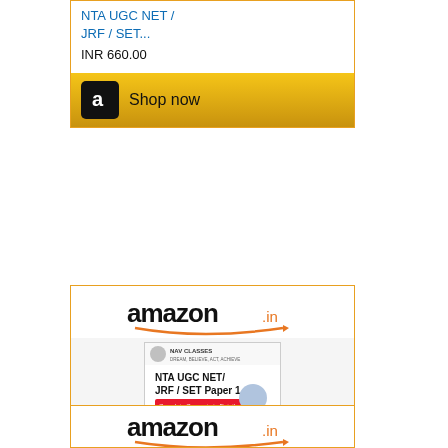[Figure (screenshot): Amazon.in advertisement card (partial top): product link 'NTA UGC NET / JRF / SET...' in blue, price 'INR 660.00', and Shop now button with Amazon logo]
[Figure (screenshot): Amazon.in advertisement card (full): amazon.in logo with smile, book cover image for NTA UGC NET/JRF/SET paper showing NAV CLASSES branding, woman and 'WAY TO JRF' text, product link 'NTA UGC NET/ JRF/ SET...' in blue, and Shop now button]
[Figure (screenshot): Amazon.in advertisement card (partial bottom): amazon.in logo with smile, partially visible]